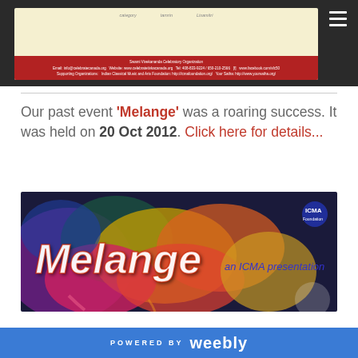[Figure (screenshot): Top dark banner with a partial event flyer for Swami Vivekananda Celebratory Organization with red footer bar showing organization details]
Our past event 'Melange' was a roaring success. It was held on 20 Oct 2012. Click here for details...
[Figure (illustration): Melange event promotional image with colorful paint splash background, large white italic 'Melange' text, ICMA Foundation logo top right, and blue text 'an ICMA presentation']
POWERED BY weebly